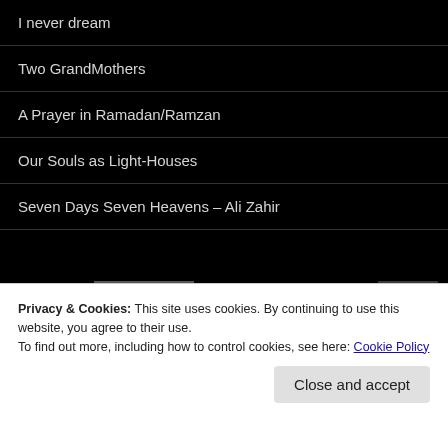I never dream
Two GrandMothers
A Prayer in Ramadan/Ramzan
Our Souls as Light-Houses
Seven Days Seven Heavens – Ali Zahir
[Figure (screenshot): YouTube playlist item: Alone to Alone - Fro... with channel icon (golden mushroom/dome), video thumbnail with red play button, three-dot menu icon, and a dark right thumbnail]
Privacy & Cookies: This site uses cookies. By continuing to use this website, you agree to their use.
To find out more, including how to control cookies, see here: Cookie Policy
Close and accept